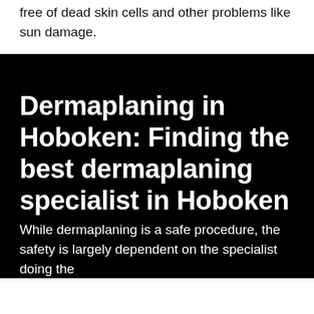free of dead skin cells and other problems like sun damage.
Dermaplaning in Hoboken: Finding the best dermaplaning specialist in Hoboken
While dermaplaning is a safe procedure, the safety is largely dependent on the specialist doing the